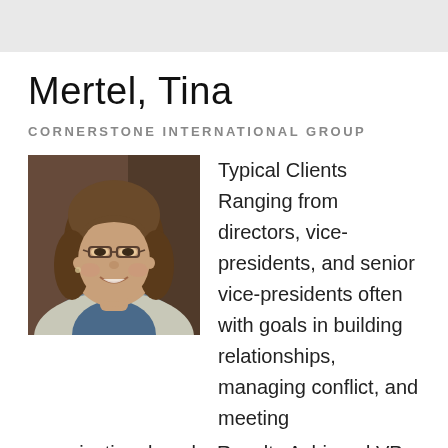Mertel, Tina
CORNERSTONE INTERNATIONAL GROUP
[Figure (photo): Professional headshot of Tina Mertel, a woman with brown shoulder-length hair, glasses, wearing a light gray blazer over a blue top, smiling]
Typical Clients Ranging from directors, vice-presidents, and senior vice-presidents often with goals in building relationships, managing conflict, and meeting organizational goals. Results Achieved VP of Wholesale in building relationships while succeeding organizational goals. Director of Fortune...